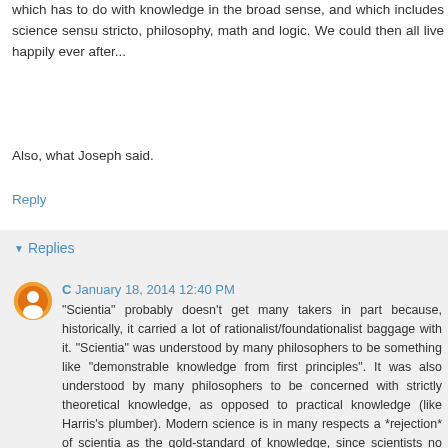which has to do with knowledge in the broad sense, and which includes science sensu stricto, philosophy, math and logic. We could then all live happily ever after...
Also, what Joseph said.
Reply
Replies
C January 18, 2014 12:40 PM
"Scientia" probably doesn't get many takers in part because, historically, it carried a lot of rationalist/foundationalist baggage with it. "Scientia" was understood by many philosophers to be something like "demonstrable knowledge from first principles". It was also understood by many philosophers to be concerned with strictly theoretical knowledge, as opposed to practical knowledge (like Harris's plumber). Modern science is in many respects a *rejection* of scientia as the gold-standard of knowledge, since scientists no longer aim for strict demonstrations